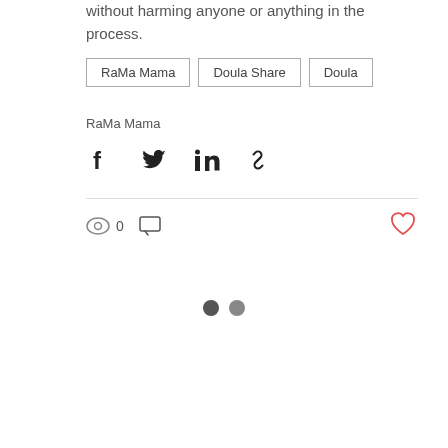without harming anyone or anything in the process.
RaMa Mama
Doula Share
Doula
RaMa Mama
[Figure (infographic): Social share icons: Facebook, Twitter, LinkedIn, link/chain icon]
[Figure (infographic): Stats row: eye icon with 0 views, comment bubble icon, and a red heart like button on the right]
[Figure (infographic): Two dark grey dots indicating a loading or pagination indicator]